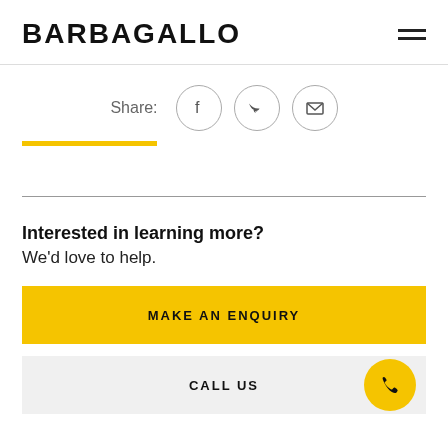BARBAGALLO
[Figure (infographic): Share icons row: Share: label followed by Facebook, Twitter, and email icon circles]
Interested in learning more?
We'd love to help.
MAKE AN ENQUIRY
CALL US